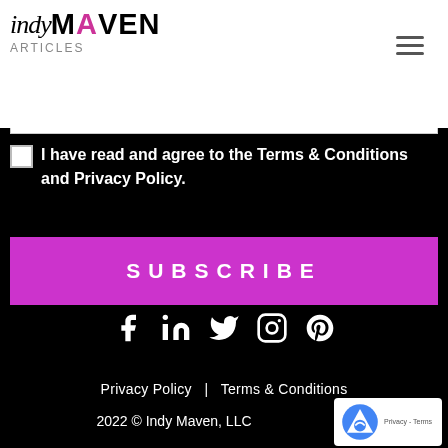indy maven
I have read and agree to the Terms & Conditions and Privacy Policy.
SUBSCRIBE
[Figure (other): Social media icons: Facebook, LinkedIn, Twitter, Instagram, Pinterest]
Privacy Policy  |  Terms & Conditions
2022 © Indy Maven, LLC
[Figure (other): reCAPTCHA badge with logo and Privacy - Terms links]